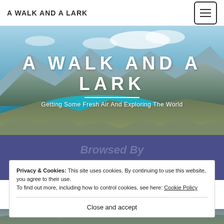A WALK AND A LARK
[Figure (photo): Mountain landscape hero image with turquoise lake and peaks, overlaid with site title 'A WALK AND A LARK' and subtitle 'Getting Some Fresh Air And Exploring The World']
A WALK AND A LARK
Getting Some Fresh Air And Exploring The World
Browsed By
The New Zealand Day Walks
Privacy & Cookies: This site uses cookies. By continuing to use this website, you agree to their use.
To find out more, including how to control cookies, see here: Cookie Policy
Close and accept